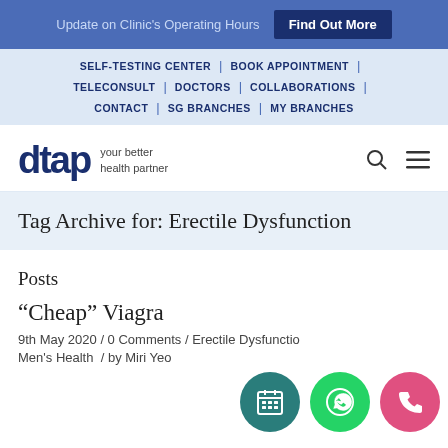Update on Clinic's Operating Hours | Find Out More
SELF-TESTING CENTER | BOOK APPOINTMENT | TELECONSULT | DOCTORS | COLLABORATIONS | CONTACT | SG BRANCHES | MY BRANCHES
[Figure (logo): dtap logo with tagline 'your better health partner']
Tag Archive for: Erectile Dysfunction
Posts
“Cheap” Viagra
9th May 2020 / 0 Comments / Erectile Dysfunction, Men's Health / by Miri Yeo